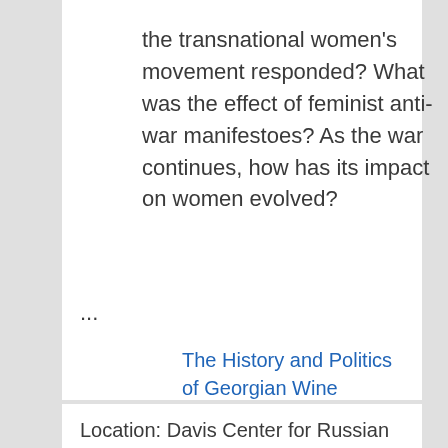the transnational women's movement responded? What was the effect of feminist anti-war manifestoes? As the war continues, how has its impact on women evolved?
...
The History and Politics of Georgian Wine
Location: Davis Center for Russian & Eurasian Studies, 1730 Cambridge St., Room S354, Cambridge
Georgia is the world's oldest wine